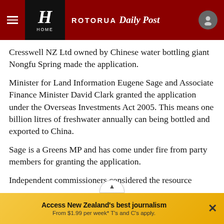ROTORUA Daily Post
Cresswell NZ Ltd owned by Chinese water bottling giant Nongfu Spring made the application.
Minister for Land Information Eugene Sage and Associate Finance Minister David Clark granted the application under the Overseas Investments Act 2005. This means one billion litres of freshwater annually can being bottled and exported to China.
Sage is a Greens MP and has come under fire from party members for granting the application.
Independent commissioners considered the resource
Access New Zealand's best journalism From $1.99 per week* T's and C's apply.